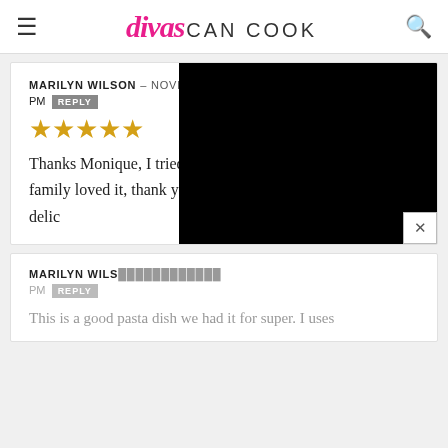divas CAN COOK
MARILYN WILSON – NOVEMBER 12, 2019 @ 8:31 PM  REPLY
★★★★★
Thanks Monique, I tried this and it is a great pasta dish my family loved it, thank you again for this recipe it was delic[obscured] of the cows milk.
MARILYN WILS[obscured]  PM  REPLY
This is a good pasta dish we had it for super. I uses